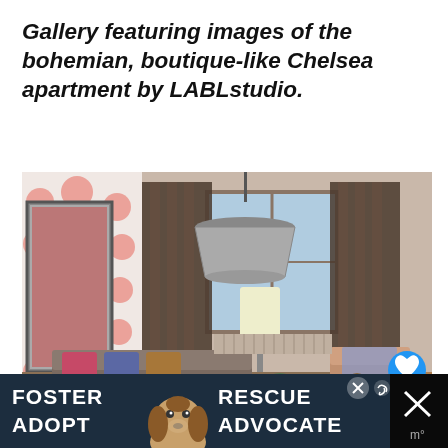Gallery featuring images of the bohemian, boutique-like Chelsea apartment by LABLstudio.
[Figure (photo): Interior photo of a bohemian-style apartment living room with patterned pendant lamp shade, pink polka-dot wallpaper, patterned curtains around a window, a sofa with colorful pillows, and armchairs. A dog sits in the background. Blue heart icon and count badge '99' overlay the bottom right.]
[Figure (photo): Advertisement banner: dark navy background with white bold text 'FOSTER ADOPT' on the left, a beagle dog photo in the center, and 'RESCUE ADVOCATE' on the right. A close button X and a Celsius thermometer icon are visible on the far right.]